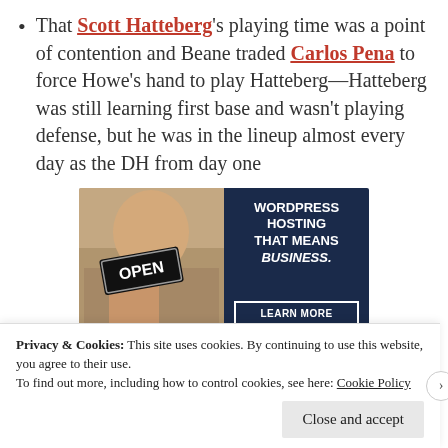That Scott Hatteberg's playing time was a point of contention and Beane traded Carlos Pena to force Howe's hand to play Hatteberg—Hatteberg was still learning first base and wasn't playing defense, but he was in the lineup almost every day as the DH from day one
[Figure (infographic): Advertisement for WordPress Hosting showing a person holding an OPEN sign with text 'WORDPRESS HOSTING THAT MEANS BUSINESS.' and a LEARN MORE button]
Privacy & Cookies: This site uses cookies. By continuing to use this website, you agree to their use.
To find out more, including how to control cookies, see here: Cookie Policy
Close and accept